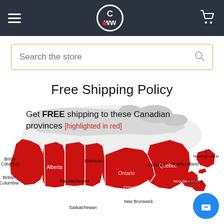CWW store header with hamburger menu, logo, and cart icon
Search the store
Free Shipping Policy
[Figure (map): Map of Canada with provinces highlighted in red: British Columbia, Alberta, Saskatchewan, Manitoba, Ontario, Quebec, New Brunswick, Newfoundland, and Prince Edward Island. Northern territories shown in light grey/white.]
Get FREE shipping to these Canadian provinces [highlighted in red]